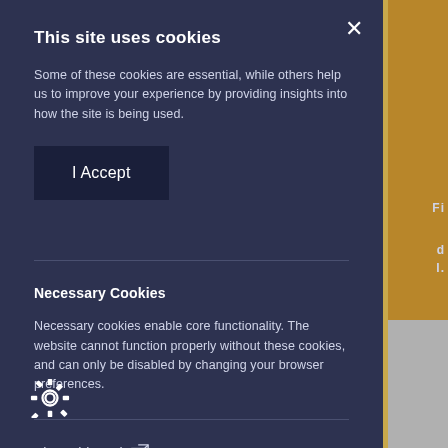This site uses cookies
Some of these cookies are essential, while others help us to improve your experience by providing insights into how the site is being used.
I Accept
Necessary Cookies
Necessary cookies enable core functionality. The website cannot function properly without these cookies, and can only be disabled by changing your browser preferences.
About this tool